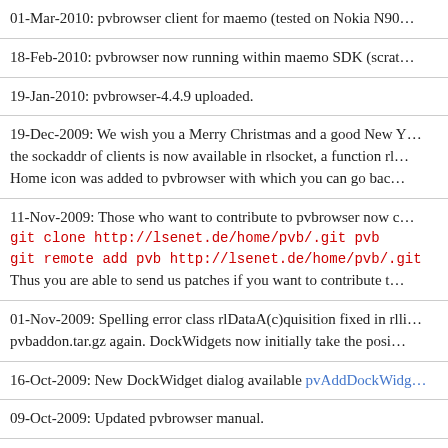01-Mar-2010: pvbrowser client for maemo (tested on Nokia N90…
18-Feb-2010: pvbrowser now running within maemo SDK (scrat…
19-Jan-2010: pvbrowser-4.4.9 uploaded.
19-Dec-2009: We wish you a Merry Christmas and a good New Y… the sockaddr of clients is now available in rlsocket, a function rl… Home icon was added to pvbrowser with which you can go bac…
11-Nov-2009: Those who want to contribute to pvbrowser now c…
git clone http://lsenet.de/home/pvb/.git pvb
git remote add pvb http://lsenet.de/home/pvb/.git
Thus you are able to send us patches if you want to contribute t…
01-Nov-2009: Spelling error class rlDataA(c)quisition fixed in rlli… pvbaddon.tar.gz again. DockWidgets now initially take the posi…
16-Oct-2009: New DockWidget dialog available pvAddDockWidg…
09-Oct-2009: Updated pvbrowser manual.
27-Sep-2009: New method with initialS… A si… t f… s… i…